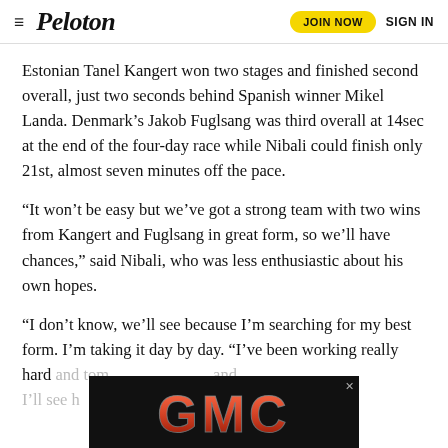≡ Peloton  JOIN NOW  SIGN IN
Estonian Tanel Kangert won two stages and finished second overall, just two seconds behind Spanish winner Mikel Landa. Denmark's Jakob Fuglsang was third overall at 14sec at the end of the four-day race while Nibali could finish only 21st, almost seven minutes off the pace.
“It won’t be easy but we’ve got a strong team with two wins from Kangert and Fuglsang in great form, so we’ll have chances,” said Nibali, who was less enthusiastic about his own hopes.
“I don’t know, we’ll see because I’m searching for my best form. I’m taking it day by day. “I’ve been working really hard and tom... and I’ll see h...
[Figure (logo): GMC advertisement banner with red GMC logo on black background]